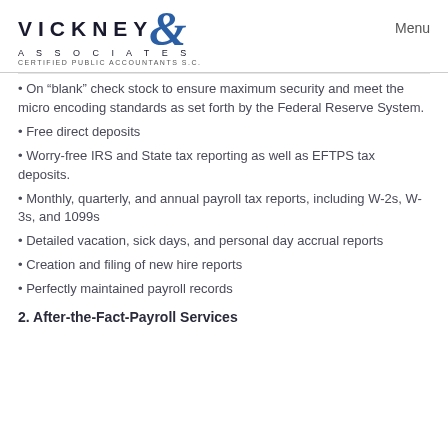VICKNEY & ASSOCIATES CERTIFIED PUBLIC ACCOUNTANTS S.C. | Menu
On “blank” check stock to ensure maximum security and meet the micro encoding standards as set forth by the Federal Reserve System.
Free direct deposits
Worry-free IRS and State tax reporting as well as EFTPS tax deposits.
Monthly, quarterly, and annual payroll tax reports, including W-2s, W-3s, and 1099s
Detailed vacation, sick days, and personal day accrual reports
Creation and filing of new hire reports
Perfectly maintained payroll records
2. After-the-Fact-Payroll Services